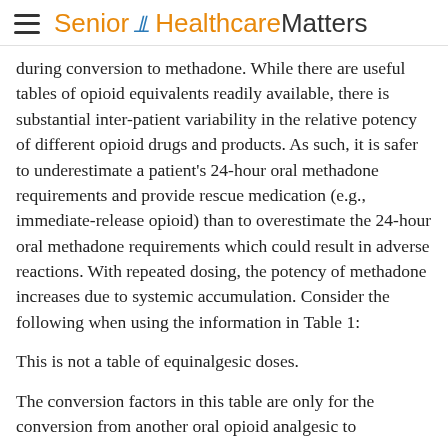Senior Healthcare Matters
during conversion to methadone. While there are useful tables of opioid equivalents readily available, there is substantial inter-patient variability in the relative potency of different opioid drugs and products. As such, it is safer to underestimate a patient's 24-hour oral methadone requirements and provide rescue medication (e.g., immediate-release opioid) than to overestimate the 24-hour oral methadone requirements which could result in adverse reactions. With repeated dosing, the potency of methadone increases due to systemic accumulation. Consider the following when using the information in Table 1:
This is not a table of equinalgesic doses.
The conversion factors in this table are only for the conversion from another oral opioid analgesic to